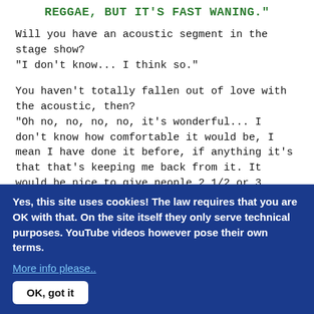REGGAE, BUT IT'S FAST WANING."
Will you have an acoustic segment in the stage show?
"I don't know... I think so."
You haven't totally fallen out of love with the acoustic, then?
"Oh no, no, no, no, it's wonderful... I don't know how comfortable it would be, I mean I have done it before, if anything it's that that's keeping me back from it. It would be nice to give people 2 1/2 or 3 hours of non-stop lunacy because at the moment I feel that we don't cover an area that we should be covering."
Have you ever had the opportunity to play on other people's albums?
"I did some reggae sessions in Jamaica for Max Romeo and
Yes, this site uses cookies! The law requires that you are OK with that. On the site itself they only serve technical purposes. YouTube videos however pose their own terms.
More info please..
OK, got it